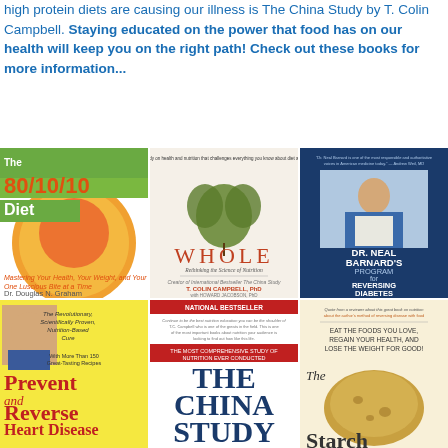high protein diets are causing our illness is The China Study by T. Colin Campbell. Staying educated on the power that food has on our health will keep you on the right path! Check out these books for more information...
[Figure (photo): Grid of 6 book covers: The 80/10/10 Diet (Dr. Douglas N. Graham), WHOLE (T. Colin Campbell PhD), Dr. Neal Barnard's Program for Reversing Diabetes, Prevent and Reverse Heart Disease, The China Study, The Starch Solution]